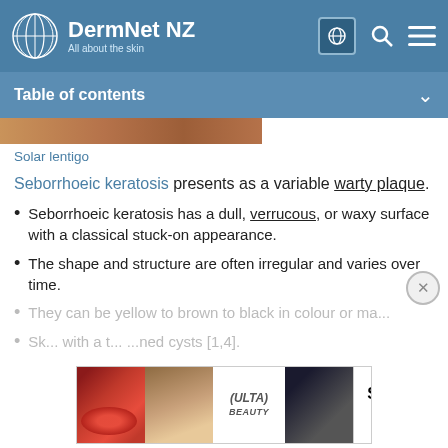DermNet NZ — All about the skin
Table of contents
[Figure (photo): Partial cropped photo of a skin lesion (solar lentigo), brownish-pink colouring, bottom portion visible as a strip.]
Solar lentigo
Seborrhoeic keratosis presents as a variable warty plaque.
Seborrhoeic keratosis has a dull, verrucous, or waxy surface with a classical stuck-on appearance.
The shape and structure are often irregular and varies over time.
They can be yellow to brown to black in colour or ma...
Sk... with a t... ...ned cysts [1,4].
[Figure (advertisement): ULTA Beauty advertisement banner showing cosmetic/makeup images with text SHOP NOW.]